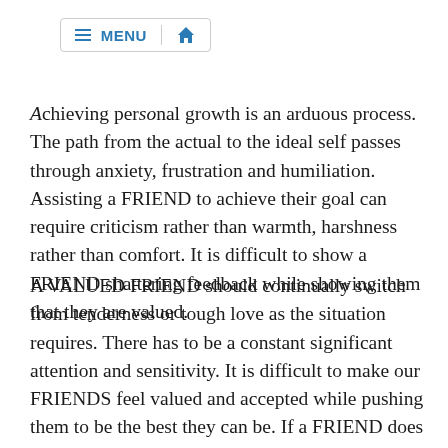MENU [home icon]
Achieving personal growth is an arduous process. The path from the actual to the ideal self passes through anxiety, frustration and humiliation. Assisting a FRIEND to achieve their goal can require criticism rather than warmth, harshness rather than comfort. It is difficult to show a FRIEND shattering feedback while showing them that they are valued.
A VALUED FRIEND should continually switch from tenderness or tough love as the situation requires. There has to be a constant significant attention and sensitivity. It is difficult to make our FRIENDS feel valued and accepted while pushing them to be the best they can be. If a FRIEND does not make the effort to improve the other, then that is as much a betrayal as not being honest with your FRIEND. DO NOT BE A